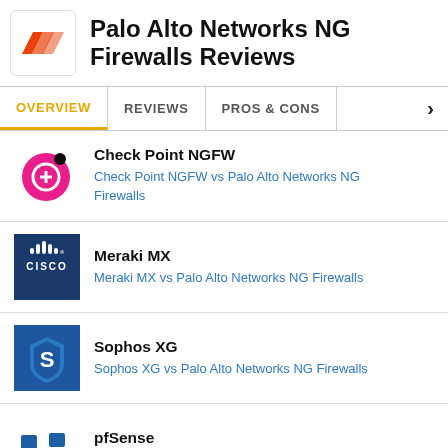Palo Alto Networks NG Firewalls Reviews
OVERVIEW | REVIEWS | PROS & CONS
Check Point NGFW — Check Point NGFW vs Palo Alto Networks NG Firewalls
Meraki MX — Meraki MX vs Palo Alto Networks NG Firewalls
Sophos XG — Sophos XG vs Palo Alto Networks NG Firewalls
pfSense — pfSense vs Palo Alto Networks NG Firewalls
Cisco Firepower NGFW Firewall